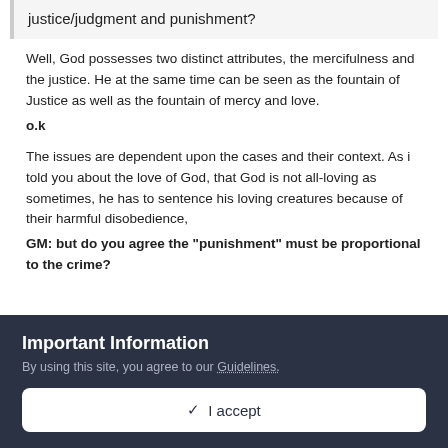justice/judgment and punishment?
Well, God possesses two distinct attributes, the mercifulness and the justice. He at the same time can be seen as the fountain of Justice as well as the fountain of mercy and love.
o.k
The issues are dependent upon the cases and their context. As i told you about the love of God, that God is not all-loving as sometimes, he has to sentence his loving creatures because of their harmful disobedience,
GM: but do you agree the "punishment" must be proportional to the crime?
Important Information
By using this site, you agree to our Guidelines.
✓  I accept